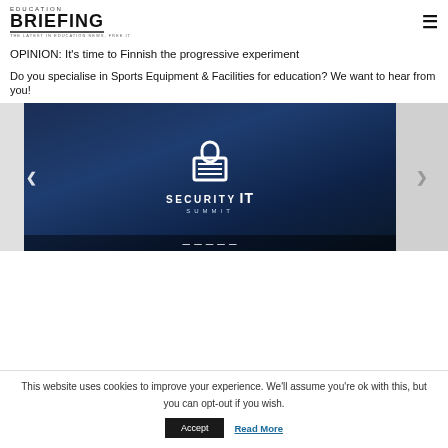EDUCATION BRIEFING – THE LATEST IN EDUCATION NEWS, FREE IT
OPINION: It's time to Finnish the progressive experiment
Do you specialise in Sports Equipment & Facilities for education? We want to hear from you!
[Figure (screenshot): Security IT Summit banner image with padlock icon on dark blue gradient background, showing 'SECURITY IT SUMMIT' text and a date strip at the bottom. Navigation arrows on left and right sides.]
This website uses cookies to improve your experience. We'll assume you're ok with this, but you can opt-out if you wish.
Accept   Read More